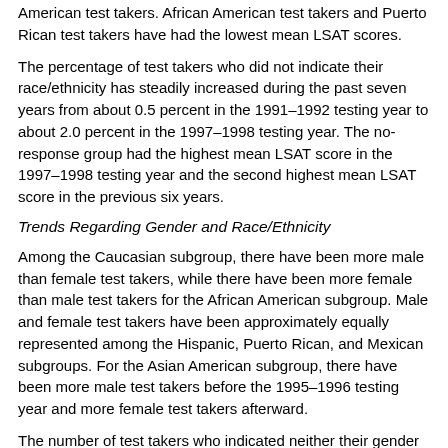American test takers. African American test takers and Puerto Rican test takers have had the lowest mean LSAT scores.
The percentage of test takers who did not indicate their race/ethnicity has steadily increased during the past seven years from about 0.5 percent in the 1991–1992 testing year to about 2.0 percent in the 1997–1998 testing year. The no-response group had the highest mean LSAT score in the 1997–1998 testing year and the second highest mean LSAT score in the previous six years.
Trends Regarding Gender and Race/Ethnicity
Among the Caucasian subgroup, there have been more male than female test takers, while there have been more female than male test takers for the African American subgroup. Male and female test takers have been approximately equally represented among the Hispanic, Puerto Rican, and Mexican subgroups. For the Asian American subgroup, there have been more male test takers before the 1995–1996 testing year and more female test takers afterward.
The number of test takers who indicated neither their gender nor their race/ethnicity increased noticeably in the 1997–1998 testing year compared to previous testing years.
LSAT Performance with Regional, Gender, and Racial/Ethnic